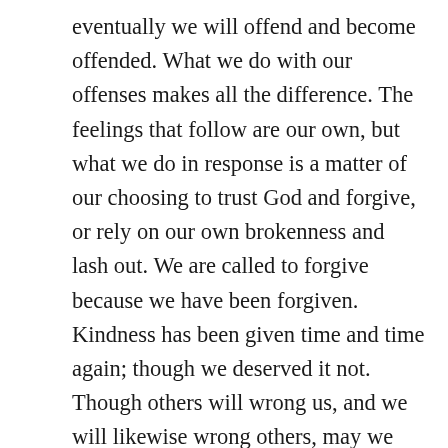eventually we will offend and become offended. What we do with our offenses makes all the difference. The feelings that follow are our own, but what we do in response is a matter of our choosing to trust God and forgive, or rely on our own brokenness and lash out. We are called to forgive because we have been forgiven. Kindness has been given time and time again; though we deserved it not. Though others will wrong us, and we will likewise wrong others, may we ever seek the Lord for strength to go forth in forgiveness, so that His heart may be made known through our love. When we offend others, may we also be quick to repent and remedy the relational strain.